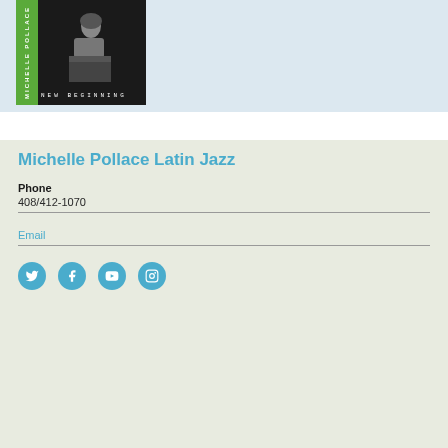[Figure (photo): Album cover for Michelle Pollace 'New Beginning' — black and white photo of a woman at a piano, with a green stripe on the left side, on a light blue background]
Michelle Pollace Latin Jazz
Phone
408/412-1070
Email
[Figure (other): Social media icons: Twitter, Facebook, YouTube, Instagram — blue circular icons]